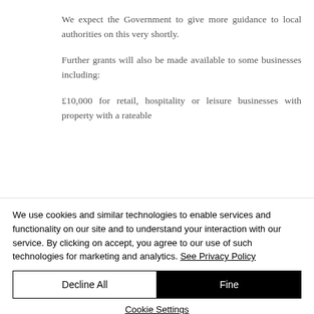We expect the Government to give more guidance to local authorities on this very shortly.
Further grants will also be made available to some businesses including:
£10,000 for retail, hospitality or leisure businesses with property with a rateable
We use cookies and similar technologies to enable services and functionality on our site and to understand your interaction with our service. By clicking on accept, you agree to our use of such technologies for marketing and analytics. See Privacy Policy
Decline All
Fine
Cookie Settings